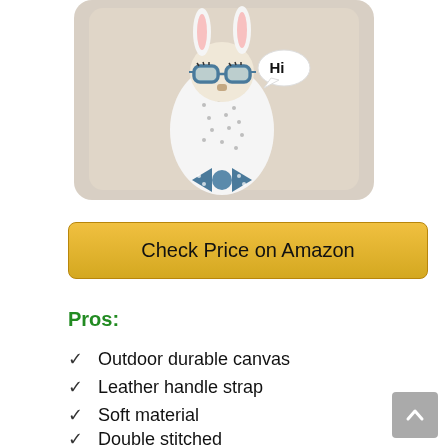[Figure (illustration): A cute cartoon llama with bunny ears wearing blue glasses and a polka dot bow tie, sitting on a beige/tan pillow. The llama has a speech bubble saying 'Hi' in bold text.]
Check Price on Amazon
Pros:
Outdoor durable canvas
Leather handle strap
Soft material
Double stitched